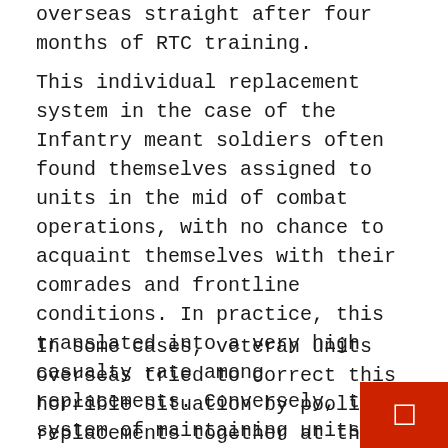overseas straight after four months of RTC training.
This individual replacement system in the case of the Infantry meant soldiers often found themselves assigned to units in the mid of combat operations, with no chance to acquaint themselves with their comrades and frontline conditions. In practice, this translated into a very high casualty rate among replacements. Conversely, this system of maintaining units in action indefinitely through a stream of individual replacements, also had the effect that combat soldiers lived in a doom-like world were they were kept fighting till wounded, killed, or otherwise disabled, with obvious mental and physical consequences.
In some cases, veteran units overseas tried to correct this horrible situation by pooling replacements together at the divisional or regimental level, for further training and familiarization with combat situations when possible. The US 34th Infantry Division was one of them, and t